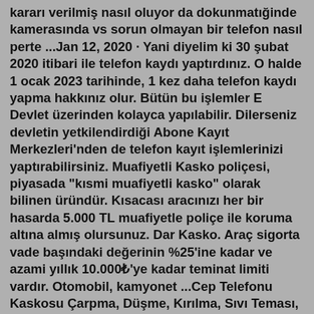kararı verilmiş nasıl oluyor da dokunmatığinde kamerasında vs sorun olmayan bir telefon nasıl perte ...Jan 12, 2020 · Yani diyelim ki 30 şubat 2020 itibari ile telefon kaydı yaptırdınız. O halde 1 ocak 2023 tarihinde, 1 kez daha telefon kaydı yapma hakkınız olur. Bütün bu işlemler E Devlet üzerinden kolayca yapılabilir. Dilerseniz devletin yetkilendirdiği Abone Kayıt Merkezleri'nden de telefon kayıt işlemlerinizi yaptırabilirsiniz. Muafiyetli Kasko poliçesi, piyasada "kısmi muafiyetli kasko" olarak bilinen üründür. Kısacası aracınızı her bir hasarda 5.000 TL muafiyetle poliçe ile koruma altına almış olursunuz. Dar Kasko. Araç sigorta vade başındaki değerinin %25'ine kadar ve azami yıllık 10.000₺'ye kadar teminat limiti vardır. Otomobil, kamyonet ...Cep Telefonu Kaskosu Çarpma, Düşme, Kırılma, Sıvı Teması, Yüksek Voltaj, Kavrulma, Gasp, Kapkaç vb. birçok durumu kapsar ve müşterileri için Danışmanlık, Teknik Destek, Hukuki Danışmanlık, Lojistik, Call Center gibi hizmet alabilirsiniz. Bu durumlar yani yukarıdaki sıraladığımız işlemler